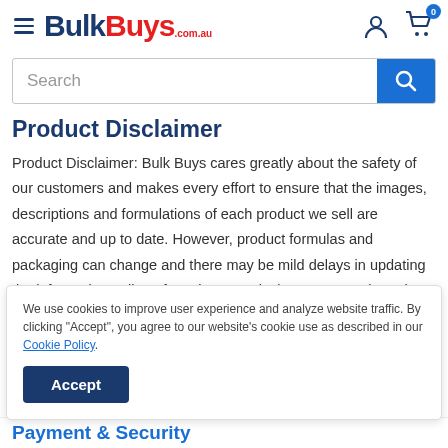BulkBuys.com.au
Search
Product Disclaimer
Product Disclaimer: Bulk Buys cares greatly about the safety of our customers and makes every effort to ensure that the images, descriptions and formulations of each product we sell are accurate and up to date. However, product formulas and packaging can change and there may be mild delays in updating the information online. If you have particular concerns about the materials or ingredients used in this
We use cookies to improve user experience and analyze website traffic. By clicking "Accept", you agree to our website's cookie use as described in our Cookie Policy.
Accept
Payment & Security